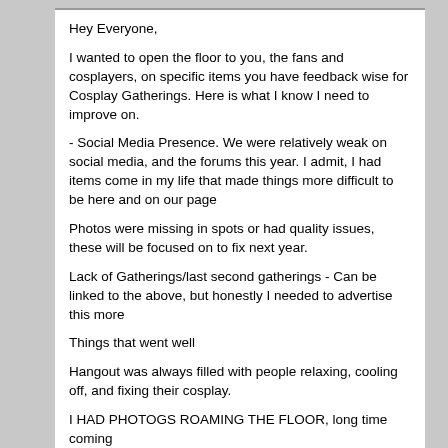Hey Everyone,
I wanted to open the floor to you, the fans and cosplayers, on specific items you have feedback wise for Cosplay Gatherings. Here is what I know I need to improve on.
- Social Media Presence. We were relatively weak on social media, and the forums this year. I admit, I had items come in my life that made things more difficult to be here and on our page
Photos were missing in spots or had quality issues, these will be focused on to fix next year.
Lack of Gatherings/last second gatherings - Can be linked to the above, but honestly I needed to advertise this more
Things that went well
Hangout was always filled with people relaxing, cooling off, and fixing their cosplay.
I HAD PHOTOGS ROAMING THE FLOOR, long time coming
Workshops were knocked out of the park! Large attendance to most if not all of them
No Crazy incidents at the gatherings from what I saw.
In General, this year I feel I am back to B era power. yes there are some points to work on, but people know of us now, and enjoy us for what we are! We hope to evolve, so please give feedback and ways to improve upon it. Complaining exists, but